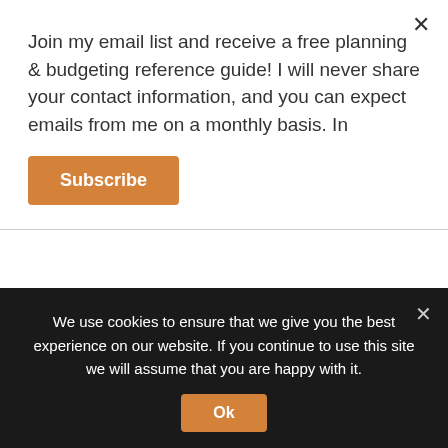Join my email list and receive a free planning & budgeting reference guide! I will never share your contact information, and you can expect emails from me on a monthly basis. In
Subscribe
for retirement but I figure if we feel like we are in a great situation there in ~9 years when Annabel is going to college we'll feel more comfortable cashflowing college and
We use cookies to ensure that we give you the best experience on our website. If you continue to use this site we will assume that you are happy with it.
Ok